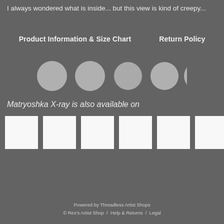I always wondered what is inside... but this view is kind of creepy...
Product Information & Size Chart      Return Policy
[Figure (other): Five gray circles arranged in a row, used as image carousel/pagination indicators]
Matryoshka X-ray is also available on
[Figure (other): Six white/light gray square product thumbnail placeholders arranged in a row]
Powered by Threadless Artist Shops
© Rex's Artist Shop  /  Help & Returns  /  Legal